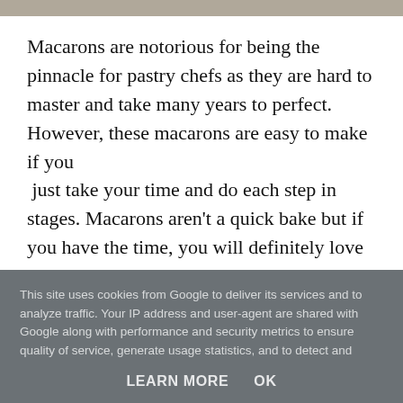[Figure (photo): Partial photo strip at top of page, showing edge of a food/macaron image]
Macarons are notorious for being the pinnacle for pastry chefs as they are hard to master and take many years to perfect. However, these macarons are easy to make if you
 just take your time and do each step in stages. Macarons aren't a quick bake but if you have the time, you will definitely love making these and
This site uses cookies from Google to deliver its services and to analyze traffic. Your IP address and user-agent are shared with Google along with performance and security metrics to ensure quality of service, generate usage statistics, and to detect and address abuse.
LEARN MORE   OK